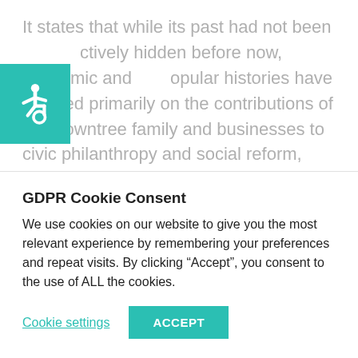It states that while its past had not been actively hidden before now, academic and popular histories have focused primarily on the contributions of the Rowntree family and businesses to civic philanthropy and social reform, with the presence of empire acknowledged but its meanings not confronted. However, the Black Lives Matter movement and growing global recognition of long histories of systemic racism led it to
[Figure (illustration): Teal/green square with white wheelchair accessibility icon]
GDPR Cookie Consent
We use cookies on our website to give you the most relevant experience by remembering your preferences and repeat visits. By clicking “Accept”, you consent to the use of ALL the cookies.